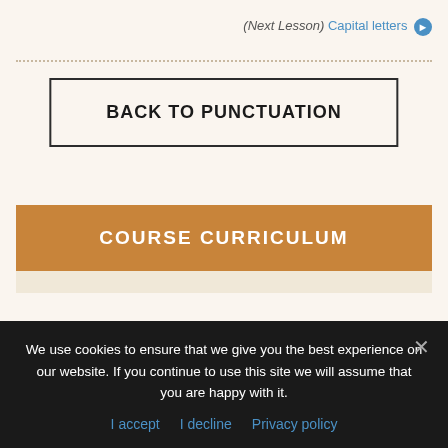(Next Lesson) Capital letters →
BACK TO PUNCTUATION
COURSE CURRICULUM
Question Mark
20 mins
We use cookies to ensure that we give you the best experience on our website. If you continue to use this site we will assume that you are happy with it.
I accept  I decline  Privacy policy